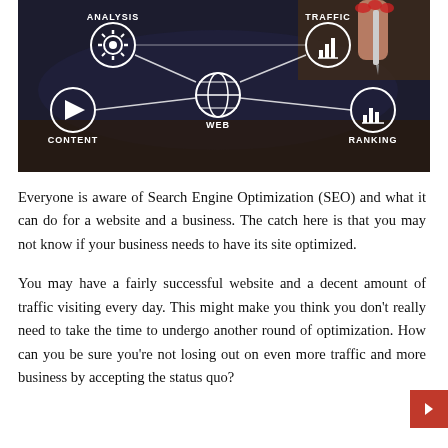[Figure (illustration): SEO concept illustration showing a hand with a stylus pointing at a digital diagram with interconnected circles labeled: ANALYSIS (gear icon), TRAFFIC (bar chart icon), WEB (globe icon), CONTENT (play button icon), RANKING (bar chart icon). Connected by white lines on a dark blue/black background.]
Everyone is aware of Search Engine Optimization (SEO) and what it can do for a website and a business. The catch here is that you may not know if your business needs to have its site optimized.
You may have a fairly successful website and a decent amount of traffic visiting every day. This might make you think you don't really need to take the time to undergo another round of optimization. How can you be sure you're not losing out on even more traffic and more business by accepting the status quo?